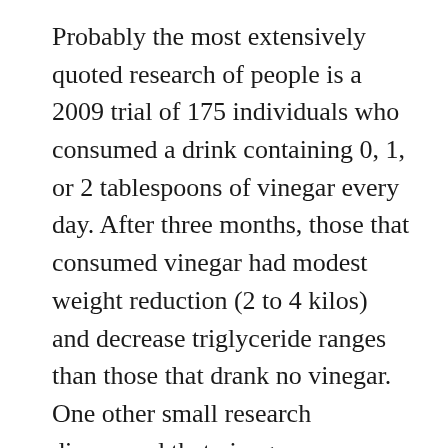Probably the most extensively quoted research of people is a 2009 trial of 175 individuals who consumed a drink containing 0, 1, or 2 tablespoons of vinegar every day. After three months, those that consumed vinegar had modest weight reduction (2 to 4 kilos) and decrease triglyceride ranges than those that drank no vinegar. One other small research discovered that vinegar consumption promoted feeling fuller after consuming, however that it did so by inflicting nausea. Neither of those research (and none I might discover in a medical literature search) particularly studied apple cider vinegar. A newer research randomly assigned 39 research topics to observe a restricted calorie